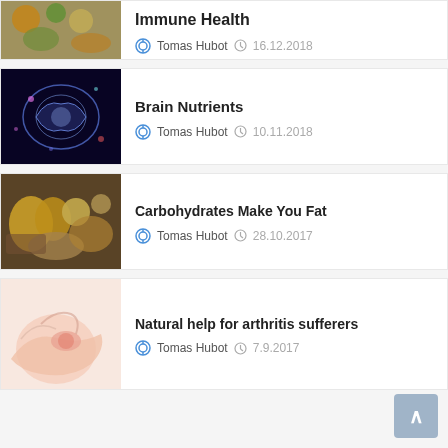Immune Health — Tomas Hubot — 16.12.2018
Brain Nutrients — Tomas Hubot — 10.11.2018
Carbohydrates Make You Fat — Tomas Hubot — 28.10.2017
Natural help for arthritis sufferers — Tomas Hubot — 7.9.2017